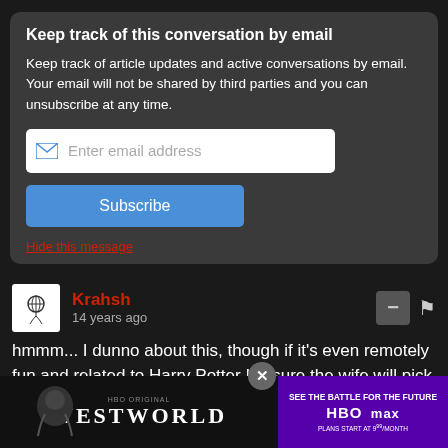Keep track of this conversation by email
Keep track of article updates and active conversations by email. Your email will not be shared by third parties and you can unsubscribe at any time.
Enter email address
Subscribe
Hide this message
Krahsh
14 years ago
hmmm... I dunno about this, though if it's even remotely fun and related to Harry Potter I'm sure the wife will pick it up before I can even consider it.
Also, obligatory joke about using my wii to manipulate Harry
[Figure (screenshot): Westworld HBO Max advertisement banner at bottom of page]